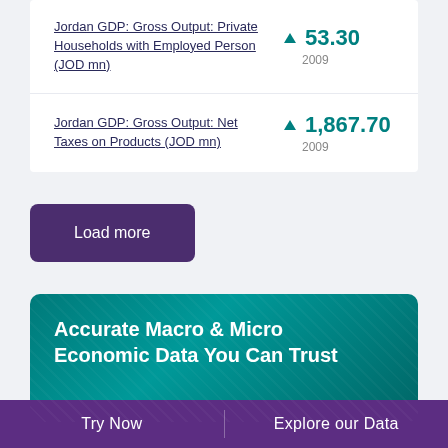Jordan GDP: Gross Output: Private Households with Employed Person (JOD mn) ▲ 53.30 2009
Jordan GDP: Gross Output: Net Taxes on Products (JOD mn) ▲ 1,867.70 2009
Load more
Accurate Macro & Micro Economic Data You Can Trust
Try Now
Explore our Data